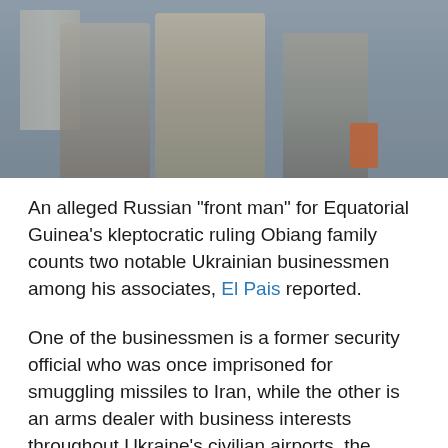[Figure (photo): A blurry/hazy photograph of several men in suits standing together, likely in front of a building. One figure appears to be holding a red/orange folder or document.]
An alleged Russian “front man” for Equatorial Guinea’s kleptocratic ruling Obiang family counts two notable Ukrainian businessmen among his associates, El Pais reported.
One of the businessmen is a former security official who was once imprisoned for smuggling missiles to Iran, while the other is an arms dealer with business interests throughout Ukraine’s civilian airports, the report says.